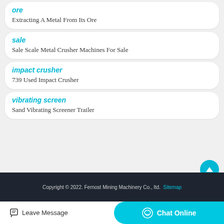ore
Extracting A Metal From Its Ore
sale
Sale Scale Metal Crusher Machines For Sale
impact crusher
739 Used Impact Crusher
vibrating screen
Sand Vibrating Screener Trailer
Copyright © 2022. Fernost Mining Machinery Co., ltd.  Sitemap
Leave Message
Chat Online